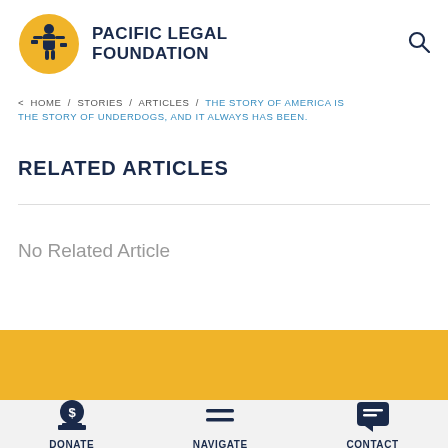[Figure (logo): Pacific Legal Foundation logo: yellow circle with figure of justice holding scales, beside bold dark blue text PACIFIC LEGAL FOUNDATION]
PACIFIC LEGAL FOUNDATION
< HOME / STORIES / ARTICLES / THE STORY OF AMERICA IS THE STORY OF UNDERDOGS, AND IT ALWAYS HAS BEEN.
RELATED ARTICLES
No Related Article
DONATE   NAVIGATE   CONTACT